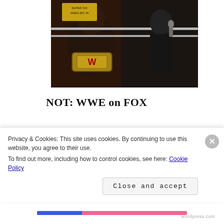[Figure (photo): WWE wrestler wearing a red championship belt in a wrestling ring, with a person in a suit nearby holding a microphone. A green sign is visible in the background.]
NOT: WWE on FOX
Carriage issues also got in the way of WWE programming on FOX Philippines’ family of networks as it announced that they would cease ties with the wresting promotion
Privacy & Cookies: This site uses cookies. By continuing to use this website, you agree to their use.
To find out more, including how to control cookies, see here: Cookie Policy
Close and accept